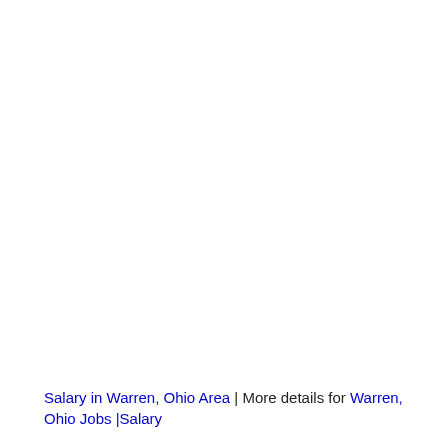Salary in Warren, Ohio Area | More details for Warren, Ohio Jobs |Salary